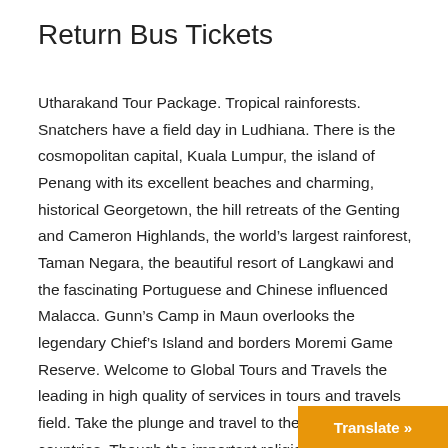Return Bus Tickets
Utharakand Tour Package. Tropical rainforests. Snatchers have a field day in Ludhiana. There is the cosmopolitan capital, Kuala Lumpur, the island of Penang with its excellent beaches and charming, historical Georgetown, the hill retreats of the Genting and Cameron Highlands, the world’s largest rainforest, Taman Negara, the beautiful resort of Langkawi and the fascinating Portuguese and Chinese influenced Malacca. Gunn’s Camp in Maun overlooks the legendary Chief’s Island and borders Moremi Game Reserve. Welcome to Global Tours and Travels the leading in high quality of services in tours and travels field. Take the plunge and travel to these far off countries. Though the important religious spaces are spread across India, The Char Dham or Four Abodes are especially important. After a long 19 days